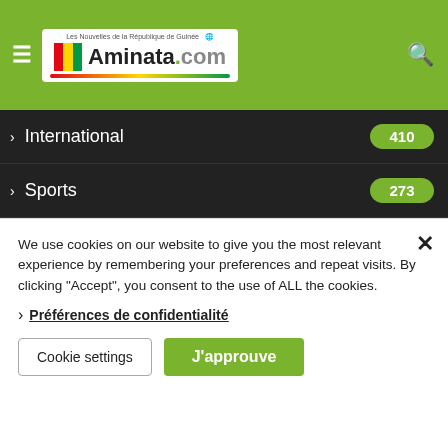[Figure (logo): Aminata.com logo with Guinea flag, tagline 'Les Nouvelles de la République de Guinée', green/red/yellow underline bar]
International 410
Sports 273
Afrique 270
Economie 262
Education 170
Justice et Droit 142
Communiqué ...
We use cookies on our website to give you the most relevant experience by remembering your preferences and repeat visits. By clicking "Accept", you consent to the use of ALL the cookies.
Préférences de confidentialité
Cookie settings
J'approuve